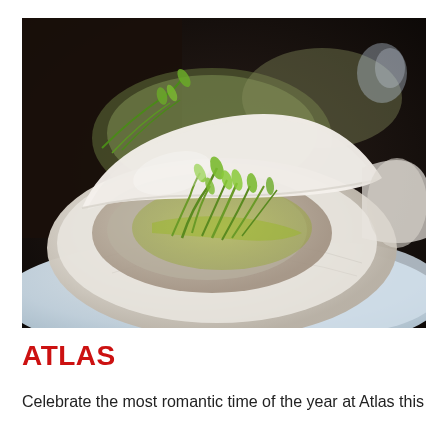[Figure (photo): Close-up photograph of fresh oysters on the half shell, garnished with green herbs and microgreens, served on crushed ice. Two oysters are visible, with a dark bokeh background.]
ATLAS
Celebrate the most romantic time of the year at Atlas this valentine's Day. Happening on February 14, 2016. Hint:...